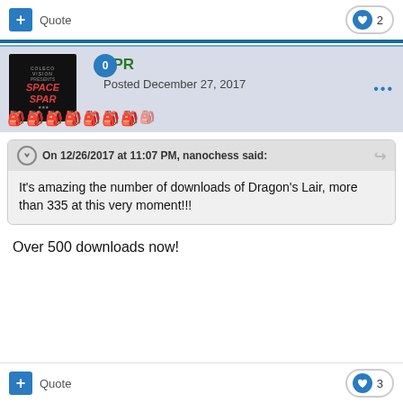+ Quote  ♥ 2
TPR
Posted December 27, 2017
On 12/26/2017 at 11:07 PM, nanochess said:
It's amazing the number of downloads of Dragon's Lair, more than 335 at this very moment!!!
Over 500 downloads now!
+ Quote  ♥ 3